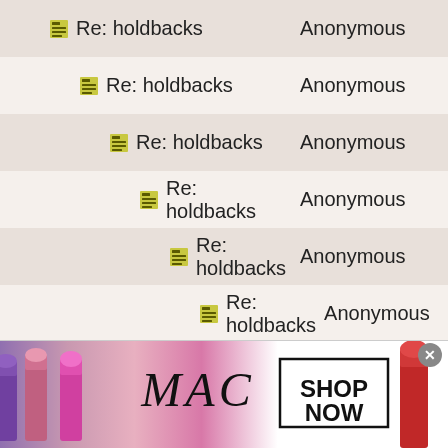Re: holdbacks — Anonymous
Re: holdbacks — Anonymous
Re: holdbacks — Anonymous
Re: holdbacks — Anonymous
Re: holdbacks — Anonymous
Re: holdbacks — Anonymous
Re: holdbacks — Anonymous
Re: holdbacks — Anonymous
Re: holdbacks — Anonymous
Re: holdbacks — Anonymous
Re: holdbacks — Anonymous
Re: holdbacks — Anonymous
Re: holdbacks — Anonymous
Re: holdbacks — Anonymous
[Figure (infographic): MAC cosmetics advertisement banner showing lipsticks, MAC logo in italic script, and a SHOP NOW button box]